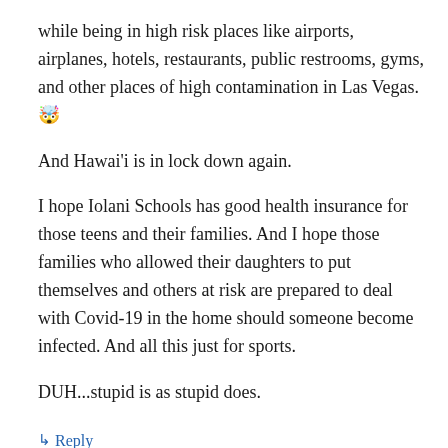while being in high risk places like airports, airplanes, hotels, restaurants, public restrooms, gyms, and other places of high contamination in Las Vegas. 🤯
And Hawai'i is in lock down again.
I hope Iolani Schools has good health insurance for those teens and their families. And I hope those families who allowed their daughters to put themselves and others at risk are prepared to deal with Covid-19 in the home should someone become infected. And all this just for sports.
DUH...stupid is as stupid does.
↳ Reply